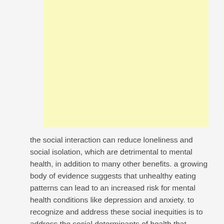[Figure (other): A blank yellow/cream colored rectangle placeholder image area]
the social interaction can reduce loneliness and social isolation, which are detrimental to mental health, in addition to many other benefits. a growing body of evidence suggests that unhealthy eating patterns can lead to an increased risk for mental health conditions like depression and anxiety. to recognize and address these social inequities is to address the social determinants of health that disadvantage the mental health of these